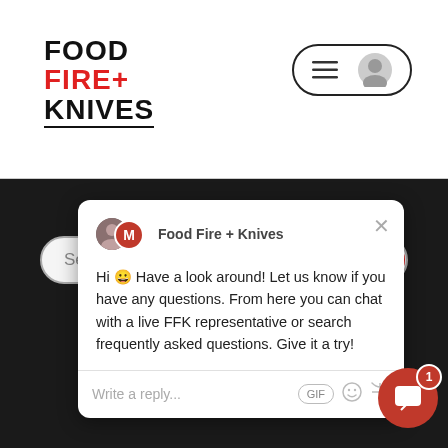[Figure (logo): Food Fire + Knives logo in top left, stacked text with FIRE+ in red]
[Figure (screenshot): Navigation icons: hamburger menu and user avatar in pill-shaped border]
Search Chefs and Menus
[Figure (screenshot): Chat popup from Food Fire + Knives with message: Hi 😀 Have a look around! Let us know if you have any questions. From here you can chat with a live FFK representative or search frequently asked questions. Give it a try!]
Pensacola | FL
Philadelphia | PA
Pittsburgh | PA
Portland | ME